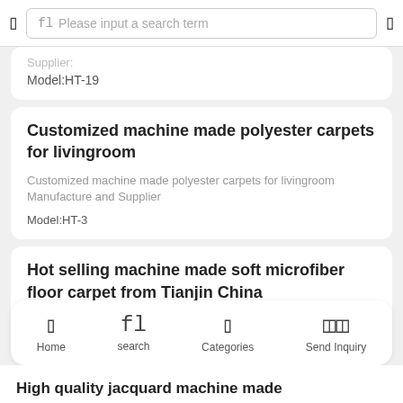Please input a search term
Supplier:
Model:HT-19
Customized machine made polyester carpets for livingroom
Customized machine made polyester carpets for livingroom Manufacture and Supplier
Model:HT-3
Hot selling machine made soft microfiber floor carpet from Tianjin China
Hot selling machine made soft microfiber floor carpet
Home   search   Categories   Send Inquiry
High quality jacquard machine made